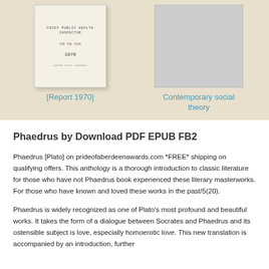[Figure (illustration): Book cover thumbnail showing 'Chief Public Health Inspector for the year 1970' in small monospace text on a light cream background]
[Report 1970]
[Figure (illustration): Placeholder book cover thumbnail in gray]
Contemporary social theory
Phaedrus by Download PDF EPUB FB2
Phaedrus [Plato] on prideofaberdeenawards.com *FREE* shipping on qualifying offers. This anthology is a thorough introduction to classic literature for those who have not Phaedrus book experienced these literary masterworks. For those who have known and loved these works in the past/5(20).
Phaedrus is widely recognized as one of Plato's most profound and beautiful works. It takes the form of a dialogue between Socrates and Phaedrus and its ostensible subject is love, especially homoerotic love. This new translation is accompanied by an introduction, further